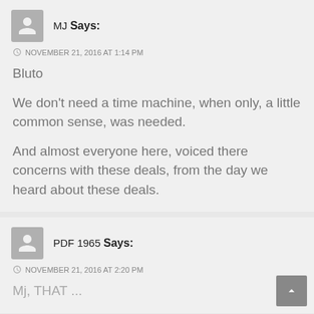MJ Says:
NOVEMBER 21, 2016 AT 1:14 PM
Bluto

We don't need a time machine, when only, a little common sense, was needed.

And almost everyone here, voiced there concerns with these deals, from the day we heard about these deals.
PDF 1965 Says:
NOVEMBER 21, 2016 AT 2:20 PM